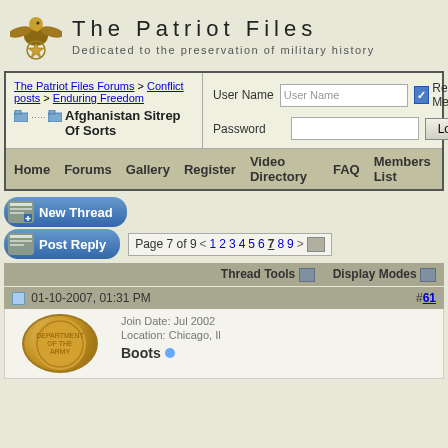[Figure (logo): The Patriot Files eagle and star logo]
The Patriot Files
Dedicated to the preservation of military history
The Patriot Files Forums > Conflict posts > Enduring Freedom
Afghanistan Sitrep Of Sorts
User Name  [User Name]  [✓] Remember Me?  Password  [        ]  [Log in]
Home  Forums  Gallery  Register  Video Directory  FAQ  Members List
[Figure (screenshot): New Thread button]
[Figure (screenshot): Post Reply button]
Page 7 of 9  < 1 2 3 4 5 6 7 8 9 >
Thread Tools  Display Modes
01-10-2007, 01:31 PM  #61
Join Date: Jul 2002  Location: Chicago, Il
Boots